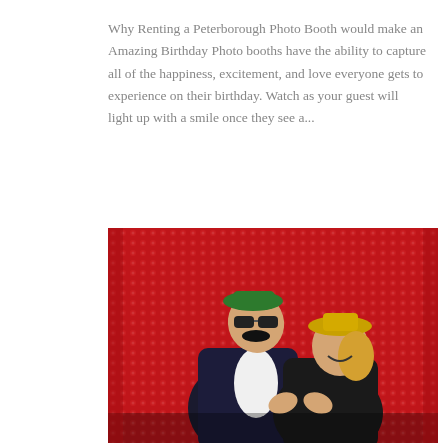Why Renting a Peterborough Photo Booth would make an Amazing Birthday Photo booths have the ability to capture all of the happiness, excitement, and love everyone gets to experience on their birthday. Watch as your guest will light up with a smile once they see a...
[Figure (photo): Two people posing playfully in a photo booth in front of a red sequin backdrop. One person wears a dark suit with a green cap, sunglasses, and a fake mustache, leaning over the other person who is laughing and wearing a gold hat. The scene is fun and celebratory.]